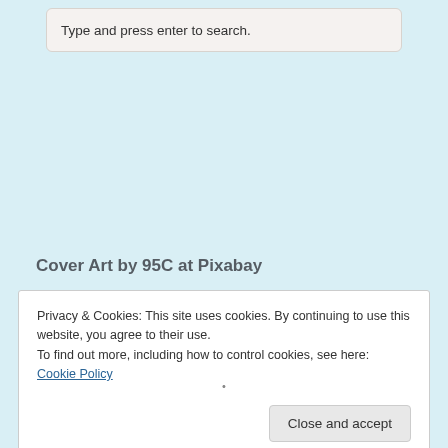Type and press enter to search.
Cover Art by 95C at Pixabay
Privacy & Cookies: This site uses cookies. By continuing to use this website, you agree to their use.
To find out more, including how to control cookies, see here: Cookie Policy
Close and accept